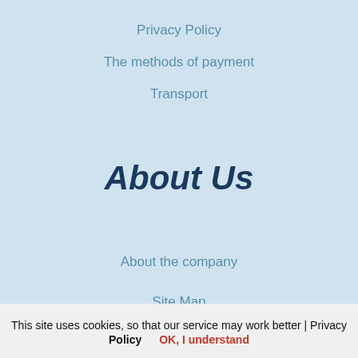Privacy Policy
The methods of payment
Transport
About Us
About the company
Site Map
This site uses cookies, so that our service may work better | Privacy Policy   OK, I understand